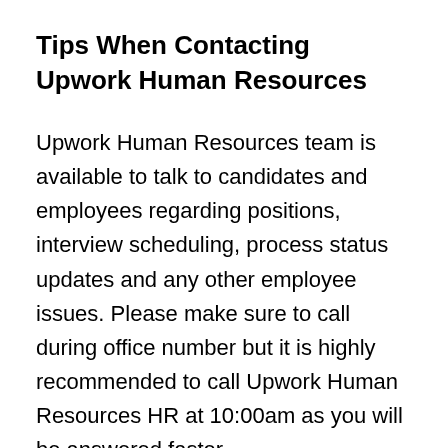Tips When Contacting Upwork Human Resources
Upwork Human Resources team is available to talk to candidates and employees regarding positions, interview scheduling, process status updates and any other employee issues. Please make sure to call during office number but it is highly recommended to call Upwork Human Resources HR at 10:00am as you will be answered faster.